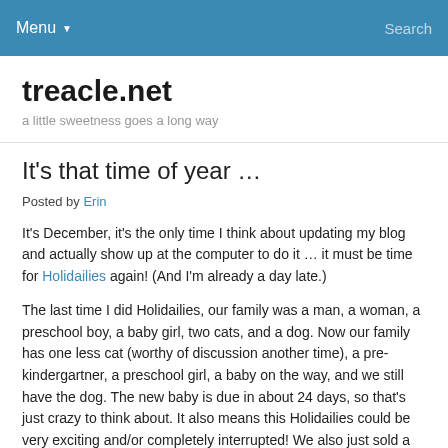Menu ▼  Search
treacle.net
a little sweetness goes a long way
It's that time of year …
Posted by Erin
It's December, it's the only time I think about updating my blog and actually show up at the computer to do it … it must be time for Holidailies again! (And I'm already a day late.)
The last time I did Holidailies, our family was a man, a woman, a preschool boy, a baby girl, two cats, and a dog. Now our family has one less cat (worthy of discussion another time), a pre-kindergartner, a preschool girl, a baby on the way, and we still have the dog. The new baby is due in about 24 days, so that's just crazy to think about. It also means this Holidailies could be very exciting and/or completely interrupted! We also just sold a house, we're building a house that